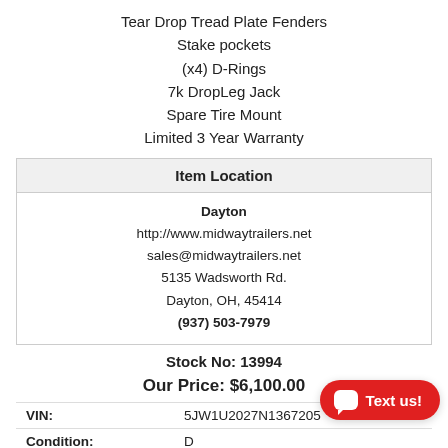Tear Drop Tread Plate Fenders
Stake pockets
(x4) D-Rings
7k DropLeg Jack
Spare Tire Mount
Limited 3 Year Warranty
| Item Location |
| --- |
| Dayton
http://www.midwaytrailers.net
sales@midwaytrailers.net
5135 Wadsworth Rd.
Dayton, OH, 45414
(937) 503-7979 |
Stock No: 13994
Our Price: $6,100.00
| Field | Value |
| --- | --- |
| VIN: | 5JW1U2027N1367205 |
| Condition: | D... |
| Year: | 202... |
| Manufacturer: | Sure Trac |